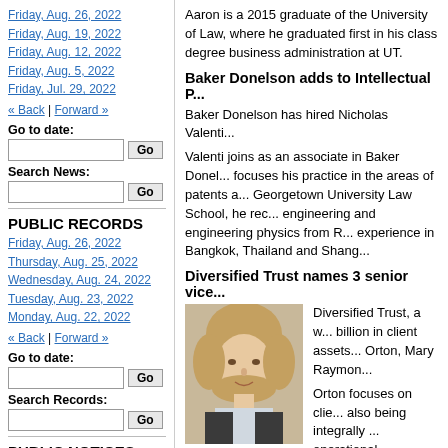Friday, Aug. 26, 2022
Friday, Aug. 19, 2022
Friday, Aug. 12, 2022
Friday, Aug. 5, 2022
Friday, Jul. 29, 2022
« Back | Forward »
Go to date:
Search News:
PUBLIC RECORDS
Friday, Aug. 26, 2022
Thursday, Aug. 25, 2022
Wednesday, Aug. 24, 2022
Tuesday, Aug. 23, 2022
Monday, Aug. 22, 2022
« Back | Forward »
Go to date:
Search Records:
PUBLIC NOTICES
Friday, Aug. 26, 2022
Aaron is a 2015 graduate of the University of Law, where he graduated first in his class degree business administration at UT.
Baker Donelson adds to Intellectual P...
Baker Donelson has hired Nicholas Valenti...
Valenti joins as an associate in Baker Donel... focuses his practice in the areas of patents a... Georgetown University Law School, he rec... engineering and engineering physics from R... experience in Bangkok, Thailand and Shang...
Diversified Trust names 3 senior vice...
[Figure (photo): Portrait photo of a woman named Orton with short blonde hair, smiling, wearing a dark jacket with a light shirt.]
Orton
Diversified Trust, a w... billion in client assets... Orton, Mary Raymon...
Orton focuses on clie... also being integrally ... operational initiatives... served as an associate... for a fee-only financi... firm. Orton attended the University of K...